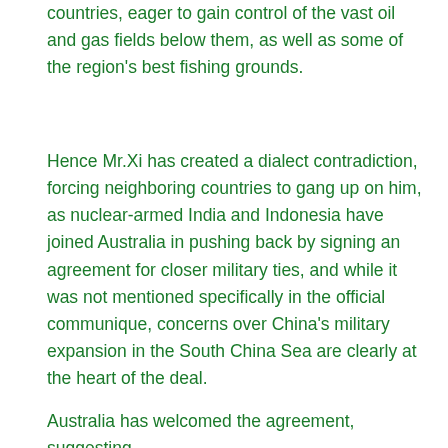countries, eager to gain control of the vast oil and gas fields below them, as well as some of the region's best fishing grounds.
Hence Mr.Xi has created a dialect contradiction, forcing neighboring countries to gang up on him, as nuclear-armed India and Indonesia have joined Australia in pushing back by signing an agreement for closer military ties, and while it was not mentioned specifically in the official communique, concerns over China's military expansion in the South China Sea are clearly at the heart of the deal.
Australia has welcomed the agreement, suggesting it will...